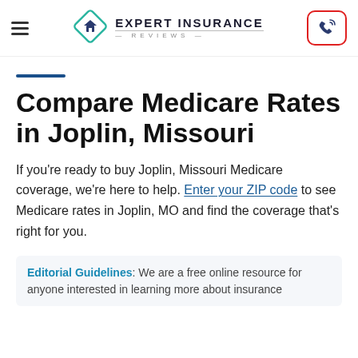Expert Insurance Reviews
Compare Medicare Rates in Joplin, Missouri
If you're ready to buy Joplin, Missouri Medicare coverage, we're here to help. Enter your ZIP code to see Medicare rates in Joplin, MO and find the coverage that's right for you.
Editorial Guidelines: We are a free online resource for anyone interested in learning more about insurance